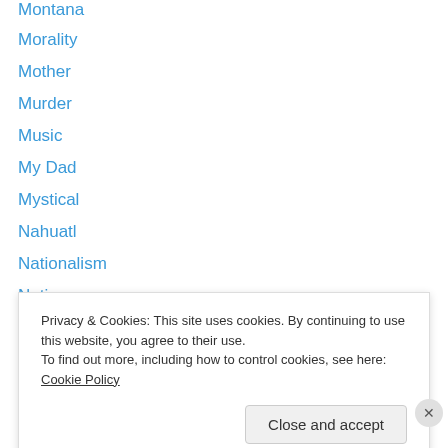Montana
Morality
Mother
Murder
Music
My Dad
Mystical
Nahuatl
Nationalism
Native
Native America
Native American
Nature
NCAA
Privacy & Cookies: This site uses cookies. By continuing to use this website, you agree to their use.
To find out more, including how to control cookies, see here: Cookie Policy